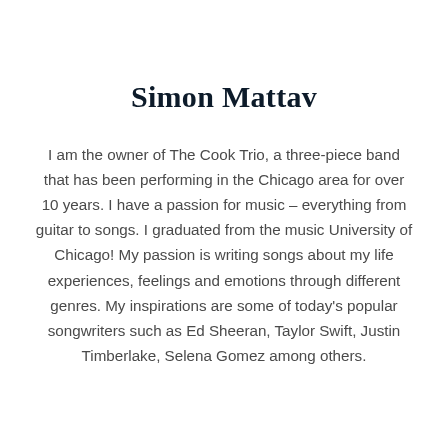Simon Mattav
I am the owner of The Cook Trio, a three-piece band that has been performing in the Chicago area for over 10 years. I have a passion for music – everything from guitar to songs. I graduated from the music University of Chicago! My passion is writing songs about my life experiences, feelings and emotions through different genres. My inspirations are some of today's popular songwriters such as Ed Sheeran, Taylor Swift, Justin Timberlake, Selena Gomez among others.